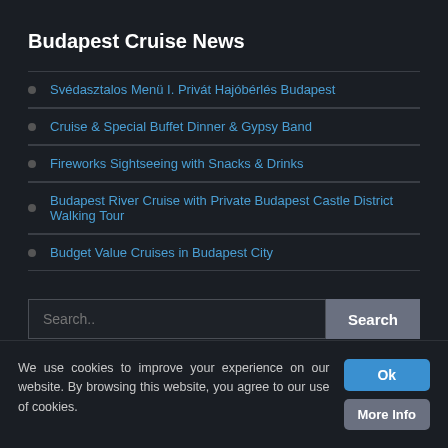Budapest Cruise News
Svédasztalos Menü I. Privát Hajóbérlés Budapest
Cruise & Special Buffet Dinner & Gypsy Band
Fireworks Sightseeing with Snacks & Drinks
Budapest River Cruise with Private Budapest Castle District Walking Tour
Budget Value Cruises in Budapest City
Search..
Budapest Cruise Inquiries
Govinda trehan on Drinks and finger foods on Private Yacht
We use cookies to improve your experience on our website. By browsing this website, you agree to our use of cookies.